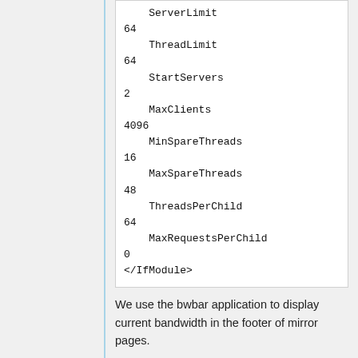ServerLimit
64
    ThreadLimit
64
    StartServers
2
    MaxClients
4096
    MinSpareThreads
16
    MaxSpareThreads
48
    ThreadsPerChild
64
    MaxRequestsPerChild
0
</IfModule>
We use the bwbar application to display current bandwidth in the footer of mirror pages.
FTP